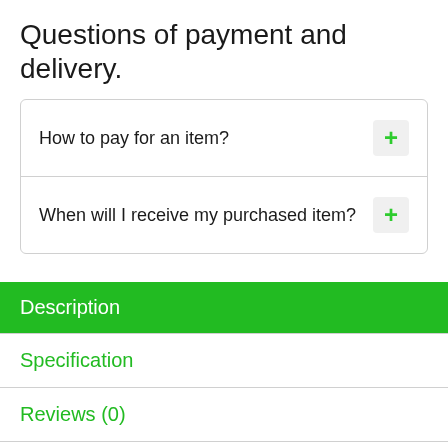Questions of payment and delivery.
How to pay for an item?
When will I receive my purchased item?
Description
Specification
Reviews (0)
Free machine embroidery design, embroidery file, formats (pes, xxx, jef, exp, vip, dst, hus, vp3). Decorative element flower 1, size...